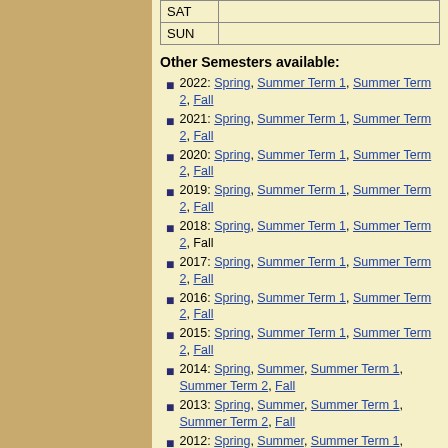| Day |  |
| --- | --- |
| SAT |  |
| SUN |  |
Other Semesters available:
2022: Spring, Summer Term 1, Summer Term 2, Fall
2021: Spring, Summer Term 1, Summer Term 2, Fall
2020: Spring, Summer Term 1, Summer Term 2, Fall
2019: Spring, Summer Term 1, Summer Term 2, Fall
2018: Spring, Summer Term 1, Summer Term 2, Fall
2017: Spring, Summer Term 1, Summer Term 2, Fall
2016: Spring, Summer Term 1, Summer Term 2, Fall
2015: Spring, Summer Term 1, Summer Term 2, Fall
2014: Spring, Summer, Summer Term 1, Summer Term 2, Fall
2013: Spring, Summer, Summer Term 1, Summer Term 2, Fall
2012: Spring, Summer, Summer Term 1, Summer Term 2, Fall